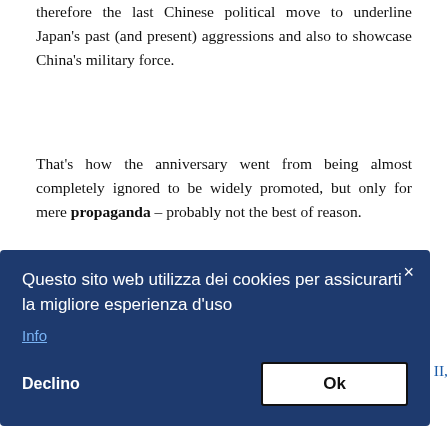therefore the last Chinese political move to underline Japan's past (and present) aggressions and also to showcase China's military force.
That's how the anniversary went from being almost completely ignored to be widely promoted, but only for mere propaganda – probably not the best of reason.
Lucia Ghezzi, Margherita Ravelli
[Figure (screenshot): Cookie consent dialog overlay with dark blue background. Contains text 'Questo sito web utilizza dei cookies per assicurarti la migliore esperienza d'uso', an 'Info' link, a close button (×), a 'Declino' button and an 'Ok' button.]
war II,